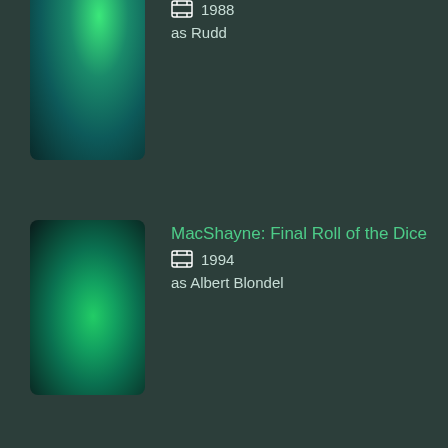[Figure (photo): Movie/show thumbnail with green gradient - partially cropped at top]
1988
as Rudd
[Figure (photo): Movie/show thumbnail with dark green gradient]
MacShayne: Final Roll of the Dice
1994
as Albert Blondel